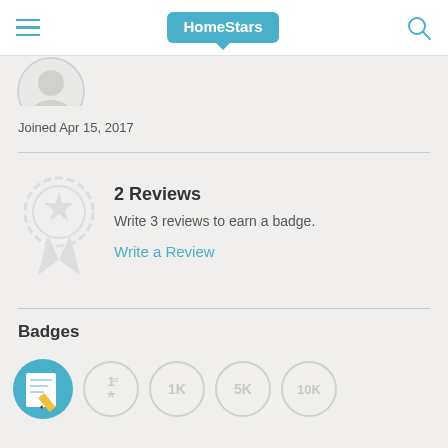HomeStars
[Figure (illustration): Partially visible user avatar circle at top left below nav]
Joined Apr 15, 2017
[Figure (illustration): Medal/badge ribbon icon (greyed out, star in center)]
2 Reviews
Write 3 reviews to earn a badge.
Write a Review
Badges
[Figure (illustration): Row of badge icons: active blue writing badge, then greyed 1st, 1K, 5K, 10K milestone badges]